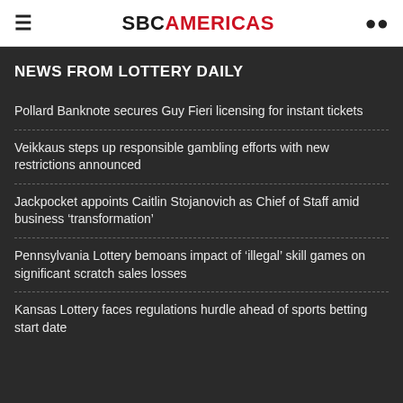SBC AMERICAS
NEWS FROM LOTTERY DAILY
Pollard Banknote secures Guy Fieri licensing for instant tickets
Veikkaus steps up responsible gambling efforts with new restrictions announced
Jackpocket appoints Caitlin Stojanovich as Chief of Staff amid business ‘transformation’
Pennsylvania Lottery bemoans impact of ‘illegal’ skill games on significant scratch sales losses
Kansas Lottery faces regulations hurdle ahead of sports betting start date